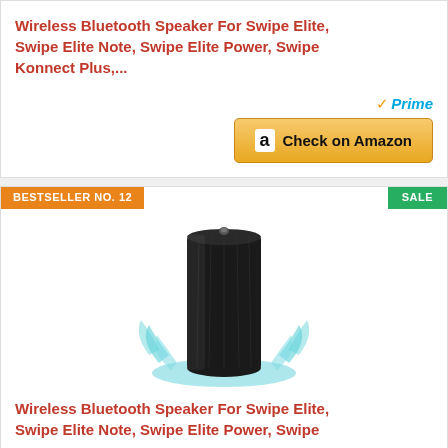Wireless Bluetooth Speaker For Swipe Elite, Swipe Elite Note, Swipe Elite Power, Swipe Konnect Plus,...
[Figure (other): Amazon Prime badge and Check on Amazon button]
BESTSELLER NO. 12
SALE
[Figure (photo): Black cylindrical wireless Bluetooth speaker with water splash effect]
Wireless Bluetooth Speaker For Swipe Elite, Swipe Elite Note, Swipe Elite Power, Swipe